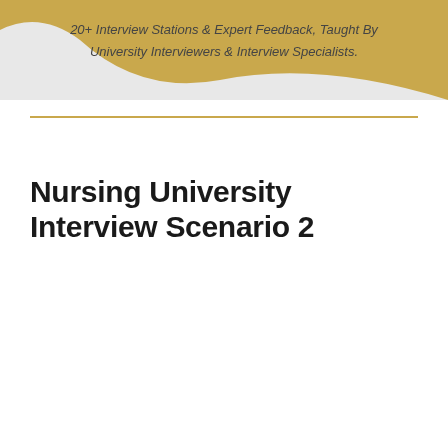[Figure (illustration): Banner graphic with gold/tan wave shape on grey background, containing italic text: '20+ Interview Stations & Expert Feedback, Taught By University Interviewers & Interview Specialists.']
Nursing University Interview Scenario 2